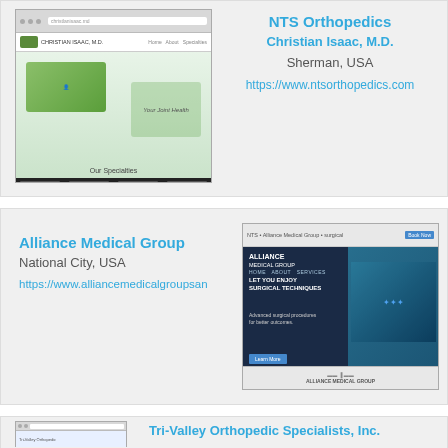[Figure (screenshot): Screenshot of NTS Orthopedics website showing a person with arms raised and text 'Your Joint Health' with Our Specialties section]
NTS Orthopedics
Christian Isaac, M.D.
Sherman, USA
https://www.ntsorthopedics.com
[Figure (screenshot): Screenshot of Alliance Medical Group website with dark navy background showing surgical techniques and surgeons in background]
Alliance Medical Group
National City, USA
https://www.alliancemedicalgroupsan
[Figure (screenshot): Partial screenshot of Tri-Valley Orthopedic Specialists, Inc. website]
Tri-Valley Orthopedic Specialists, Inc.